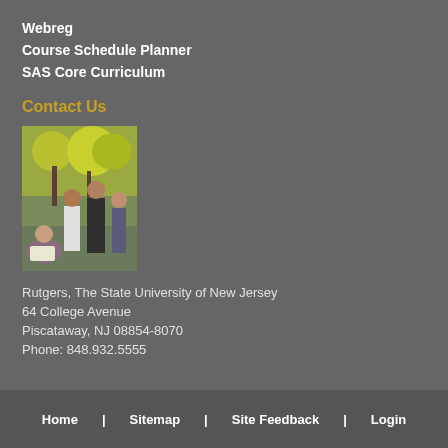Webreg
Course Schedule Planner
SAS Core Curriculum
Contact Us
[Figure (photo): Group of students talking outdoors with autumn trees in background]
Rutgers, The State University of New Jersey
64 College Avenue
Piscataway, NJ 08854-8070
Phone: 848.932.5555
Home   Sitemap   Site Feedback   Login